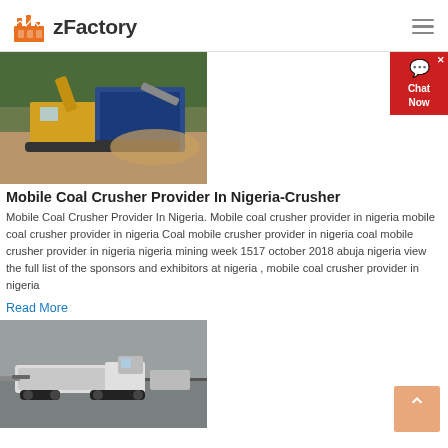zFactory
[Figure (photo): Mobile coal crusher machine on a construction/mining site with large yellow and blue industrial equipment]
Mobile Coal Crusher Provider In Nigeria-Crusher
Mobile Coal Crusher Provider In Nigeria. Mobile coal crusher provider in nigeria mobile coal crusher provider in nigeria Coal mobile crusher provider in nigeria coal mobile crusher provider in nigeria nigeria mining week 1517 october 2018 abuja nigeria view the full list of the sponsors and exhibitors at nigeria , mobile coal crusher provider in nigeria
Read More
[Figure (photo): Industrial horizontal drilling or trenching machine on a road or flat surface]